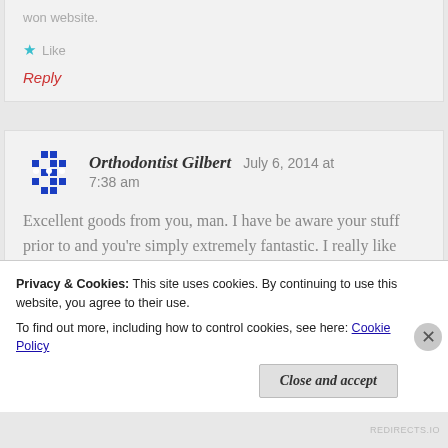★ Like
Reply
Orthodontist Gilbert   July 6, 2014 at 7:38 am
Excellent goods from you, man. I have be aware your stuff prior to and you're simply extremely fantastic. I really like what you've bought right...
Privacy & Cookies: This site uses cookies. By continuing to use this website, you agree to their use.
To find out more, including how to control cookies, see here: Cookie Policy
Close and accept